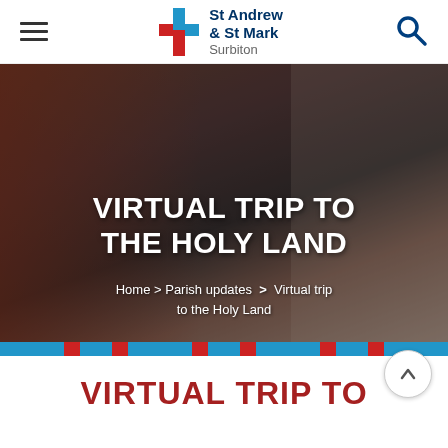St Andrew & St Mark Surbiton — navigation header
[Figure (photo): Church interior photo showing a priest in white robes and green stole performing a ceremony, with congregation members around including a child and a woman in black dress, warm curtained background]
VIRTUAL TRIP TO THE HOLY LAND
Home > Parish updates > Virtual trip to the Holy Land
VIRTUAL TRIP TO